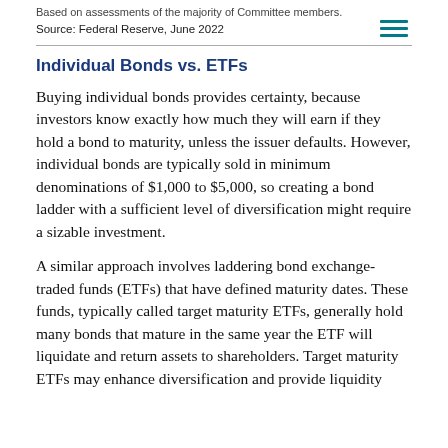Based on assessments of the majority of Committee members.
Source: Federal Reserve, June 2022
Individual Bonds vs. ETFs
Buying individual bonds provides certainty, because investors know exactly how much they will earn if they hold a bond to maturity, unless the issuer defaults. However, individual bonds are typically sold in minimum denominations of $1,000 to $5,000, so creating a bond ladder with a sufficient level of diversification might require a sizable investment.
A similar approach involves laddering bond exchange-traded funds (ETFs) that have defined maturity dates. These funds, typically called target maturity ETFs, generally hold many bonds that mature in the same year the ETF will liquidate and return assets to shareholders. Target maturity ETFs may enhance diversification and provide liquidity